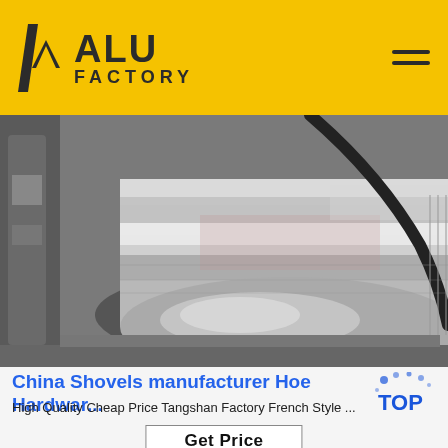ALU FACTORY
[Figure (photo): Close-up photo of a large shiny aluminum coil/roll in a factory setting, showing the metallic reflective surface of the wound aluminum foil/sheet.]
China Shovels manufacturer Hoe Hardwar...
High Quality Cheap Price Tangshan Factory French Style ...
Get Price